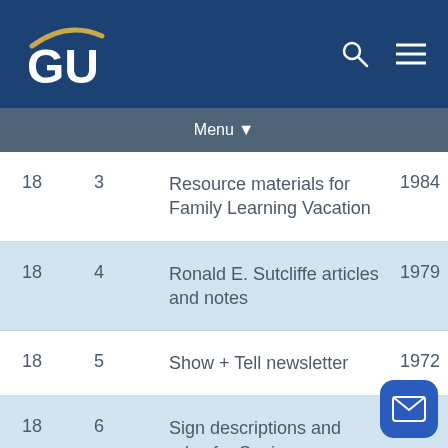GU (Georgetown University) header with search and menu icons
Menu ▾
| Box | Folder | Description | Date |
| --- | --- | --- | --- |
| 18 | 3 | Resource materials for Family Learning Vacation | 1984 |
| 18 | 4 | Ronald E. Sutcliffe articles and notes | 1979 |
| 18 | 5 | Show + Tell newsletter | 1972 |
| 18 | 6 | Sign descriptions and rules for Seeing | 19… |